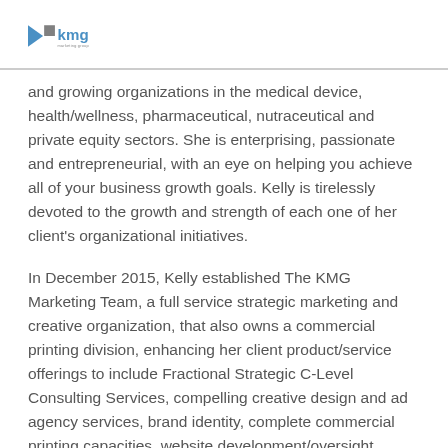KMG Marketing
and growing organizations in the medical device, health/wellness, pharmaceutical, nutraceutical and private equity sectors. She is enterprising, passionate and entrepreneurial, with an eye on helping you achieve all of your business growth goals. Kelly is tirelessly devoted to the growth and strength of each one of her client's organizational initiatives.
In December 2015, Kelly established The KMG Marketing Team, a full service strategic marketing and creative organization, that also owns a commercial printing division, enhancing her client product/service offerings to include Fractional Strategic C-Level Consulting Services, compelling creative design and ad agency services, brand identity, complete commercial printing capacities, website development/oversight, banners and signage, direct